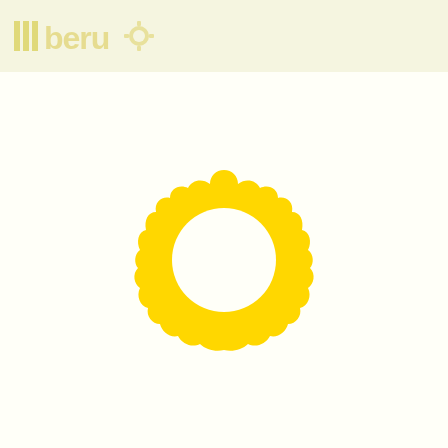[Figure (logo): Header bar with faded logo text and icon on light yellow background]
[Figure (illustration): Yellow scalloped ring / gear-like circle shape centered on off-white background]